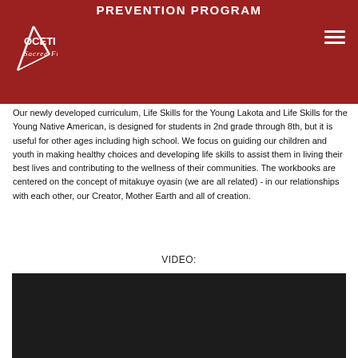PREVENTION PROGRAM
OCETI WAKAN Sacred Fireplace
Our newly developed curriculum, Life Skills for the Young Lakota and Life Skills for the Young Native American, is designed for students in 2nd grade through 8th, but it is useful for other ages including high school. We focus on guiding our children and youth in making healthy choices and developing life skills to assist them in living their best lives and contributing to the wellness of their communities. The workbooks are centered on the concept of mitakuye oyasin (we are all related) - in our relationships with each other, our Creator, Mother Earth and all of creation.
VIDEO:
[Figure (screenshot): Dark/black video player area]